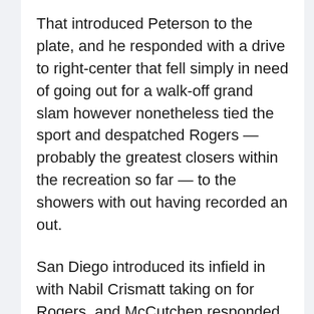That introduced Peterson to the plate, and he responded with a drive to right-center that fell simply in need of going out for a walk-off grand slam however nonetheless tied the sport and despatched Rogers — probably the greatest closers within the recreation so far — to the showers with out having recorded an out.
San Diego introduced its infield in with Nabil Crismatt taking on for Rogers, and McCutchen responded by singling to middle after which celebrating by collapsing on his again in jubilation within the aftermath as his teammates mobbed him.
More: Jason Alexander made a reputation for